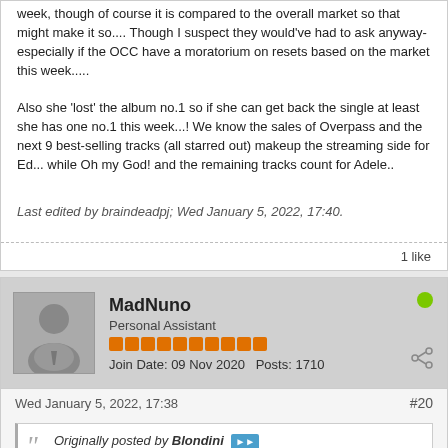week, though of course it is compared to the overall market so that might make it so.... Though I suspect they would've had to ask anyway- especially if the OCC have a moratorium on resets based on the market this week.....
Also she 'lost' the album no.1 so if she can get back the single at least she has one no.1 this week...! We know the sales of Overpass and the next 9 best-selling tracks (all starred out) makeup the streaming side for Ed... while Oh my God! and the remaining tracks count for Adele..
Last edited by braindeadpj; Wed January 5, 2022, 17:40.
1 like
MadNuno
Personal Assistant
Join Date: 09 Nov 2020   Posts: 1710
Wed January 5, 2022, 17:38
#20
Originally posted by Blondini
I mean, really? Why does Adele need a reset? She should be concentrating on the next single. Coldplay? WTF? The Anxiety is an old single already!!